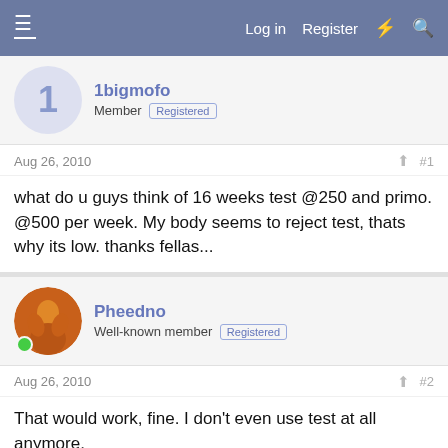Log in  Register
1bigmofo
Member  Registered
Aug 26, 2010  #1
what do u guys think of 16 weeks test @250 and primo. @500 per week. My body seems to reject test, thats why its low. thanks fellas...
Pheedno
Well-known member  Registered
Aug 26, 2010  #2
That would work, fine. I don't even use test at all anymore.
“The reason that ‘guru’ is such a popular word is because ‘charlatan’ is so hard to spell.” – William Bernstein